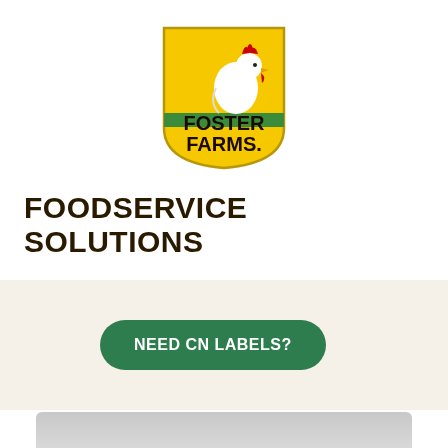[Figure (logo): Foster Farms logo: yellow shield shape with a white rooster and red comb on top, green grass stripe, bold black text 'FOSTER FARMS.' on yellow background]
FOODSERVICE SOLUTIONS
[Figure (infographic): Three green circular social media icons: Facebook (f), Instagram (camera), Pinterest (p)]
[Figure (infographic): Beige/cream banner section with hamburger menu icon on left and a green pill-shaped button labeled 'NEED CN LABELS?']
[Figure (photo): Partial gray/light image at bottom of page, cropped]